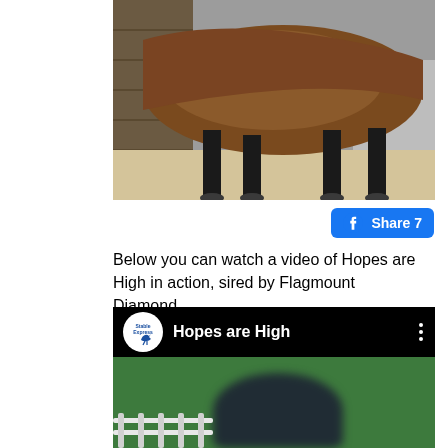[Figure (photo): Partial photo of a brown horse showing body and legs standing on sandy ground near a wooden wall, cropped to show mid-section and legs only]
[Figure (other): Facebook Share button with count 7]
Below you can watch a video of Hopes are High in action, sired by Flagmount Diamond
[Figure (screenshot): Video thumbnail showing a YouTube-style video player with the title 'Hopes are High', a Stable Express logo circle on the left, three-dot menu on the right, and a horse jumping over a fence on a green arena background]